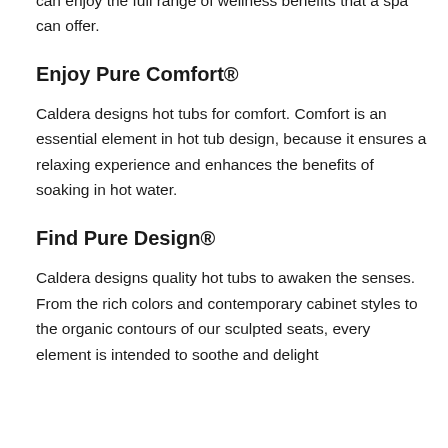high performance spas on the market. This is all so you can enjoy the full range of wellness benefits that a spa can offer.
Enjoy Pure Comfort®
Caldera designs hot tubs for comfort. Comfort is an essential element in hot tub design, because it ensures a relaxing experience and enhances the benefits of soaking in hot water.
Find Pure Design®
Caldera designs quality hot tubs to awaken the senses. From the rich colors and contemporary cabinet styles to the organic contours of our sculpted seats, every element is intended to soothe and delight